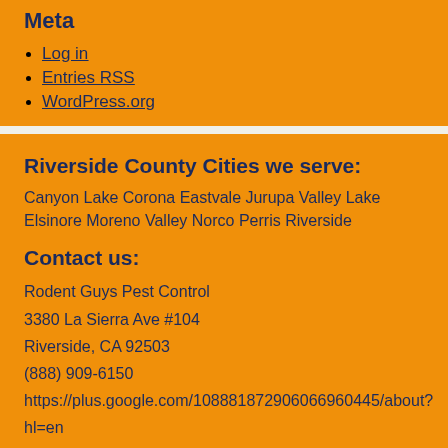Meta
Log in
Entries RSS
WordPress.org
Riverside County Cities we serve:
Canyon Lake Corona Eastvale Jurupa Valley Lake Elsinore Moreno Valley Norco Perris Riverside
Contact us:
Rodent Guys Pest Control
3380 La Sierra Ave #104
Riverside, CA 92503
(888) 909-6150
https://plus.google.com/108881872906066960445/about?hl=en
Updated: 2014 Author: Nick Nielsen
© 2022 - Gopher Control Riverside County  Proudly powered by WordPress  Aspen by WP Weaver